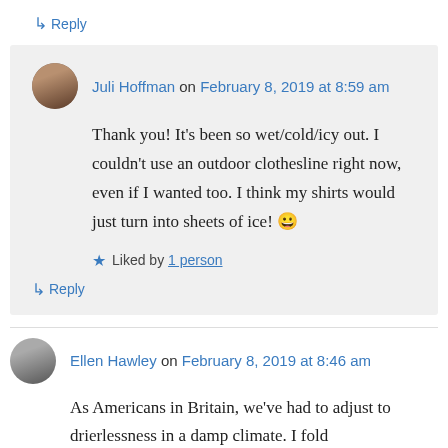↳ Reply
Juli Hoffman on February 8, 2019 at 8:59 am
Thank you! It's been so wet/cold/icy out. I couldn't use an outdoor clothesline right now, even if I wanted too. I think my shirts would just turn into sheets of ice! 😀
Liked by 1 person
↳ Reply
Ellen Hawley on February 8, 2019 at 8:46 am
As Americans in Britain, we've had to adjust to drierlessness in a damp climate. I fold